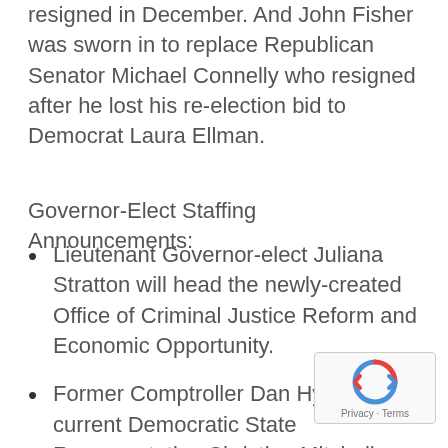resigned in December. And John Fisher was sworn in to replace Republican Senator Michael Connelly who resigned after he lost his re-election bid to Democrat Laura Ellman.
Governor-Elect Staffing Announcements:
Lieutenant Governor-elect Juliana Stratton will head the newly-created Office of Criminal Justice Reform and Economic Opportunity.
Former Comptroller Dan Hynes, current Democratic State Representative Christian Mitchell, and current President of the Chicago Park District Board Jesse Ruiz will all serve as Deputy Governors.
Anne Caprara, who was Governor-elect Pritzker's